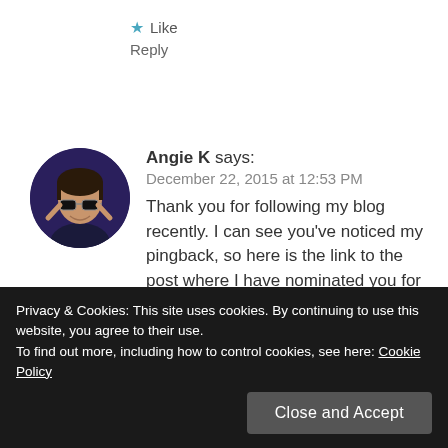★ Like
Reply
[Figure (photo): Circular avatar photo of a person wearing sunglasses]
Angie K says:
December 22, 2015 at 12:53 PM
Thank you for following my blog recently. I can see you've noticed my pingback, so here is the link to the post where I have nominated you for the Sunshine Blogger Award:
http://wp.me/p6cQhT-6c-Henry
Privacy & Cookies: This site uses cookies. By continuing to use this website, you agree to their use.
To find out more, including how to control cookies, see here: Cookie Policy